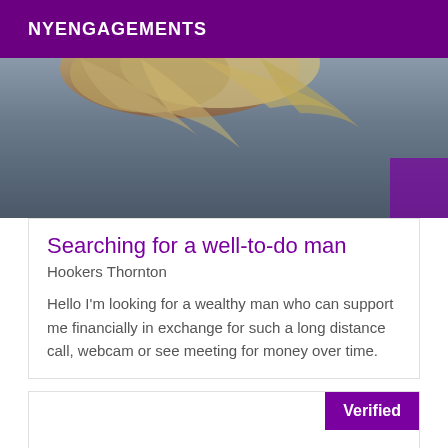NYENGAGEMENTS
[Figure (photo): Partial photo showing top of a person's head with light/blonde hair against a dark gray/blue background]
Searching for a well-to-do man
Hookers Thornton
Hello I'm looking for a wealthy man who can support me financially in exchange for such a long distance call, webcam or see meeting for money over time.
Verified